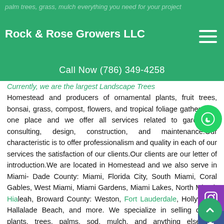palm trees, grass, mulch everything you need for your project
Rock & Rose Growers LLC
Call Now (786) 349-4258
Currently, we are the largest Landscape Trees Homestead and producers of ornamental plants, fruit trees, bonsai, grass, compost, flowers, and tropical foliage gathered in one place and we offer all services related to gardening, consulting, design, construction, and maintenance.Our characteristic is to offer professionalism and quality in each of our services the satisfaction of our clients.Our clients are our letter of introduction.We are located in Homestead and we also serve in Miami- Dade County: Miami, Florida City, South Miami, Coral Gables, West Miami, Miami Gardens, Miami Lakes, North Miami, Hialeah, Broward County: Weston, Fort Lauderdale, Hollywood, Hallalade Beach, and more. We specialize in selling quality plants, trees, palms, sod, mulch, and anything else our customers needs. Feel free to contact us